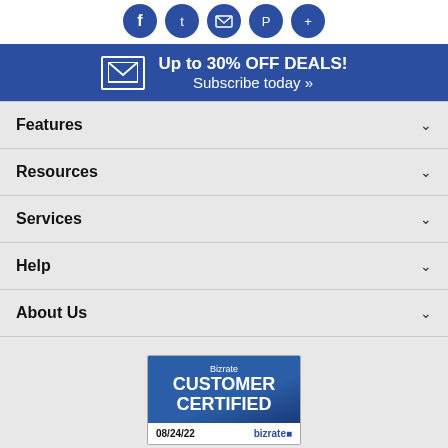[Figure (illustration): Social media icon buttons: Facebook, Twitter, Email, Pinterest, and one more, all circular blue icons]
[Figure (infographic): Blue banner with envelope icon and text: Up to 30% OFF DEALS! Subscribe today »]
Features
Resources
Services
Help
About Us
[Figure (logo): Bizrate Customer Certified badge, dated 08/24/22]
*FREE SHIPPING on qualifying aquatic life orders $179 and up. FREE SHIPPING on all other orders over $49 and up. Exclusions apply.